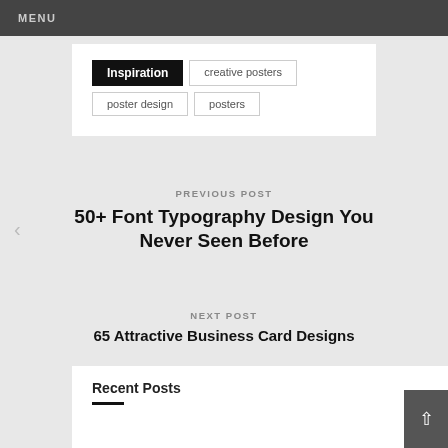MENU
Inspiration | creative posters | poster design | posters
PREVIOUS POST
50+ Font Typography Design You Never Seen Before
NEXT POST
65 Attractive Business Card Designs
Recent Posts